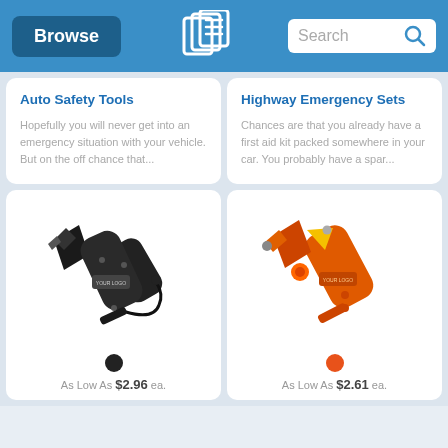Browse | [Logo] | Search
Auto Safety Tools
Hopefully you will never get into an emergency situation with your vehicle. But on the off chance that...
Highway Emergency Sets
Chances are that you already have a first aid kit packed somewhere in your car. You probably have a spar...
[Figure (photo): Black auto safety hammer tool with seatbelt cutter and window breaker, with wrist strap, showing YOUR LOGO imprint area]
As Low As $2.96 ea.
[Figure (photo): Orange highway emergency hammer tool with seatbelt cutter and window breaker, showing YOUR LOGO imprint area]
As Low As $2.61 ea.